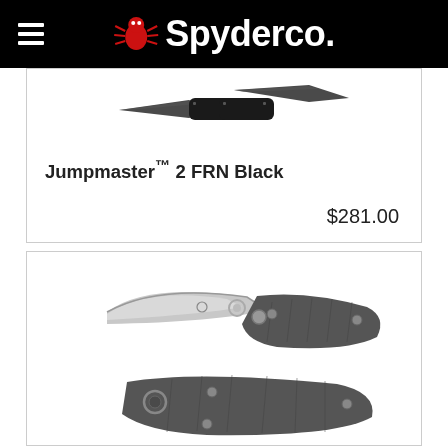Spyderco
[Figure (photo): Product photo of Jumpmaster 2 FRN Black knife showing blade and handle from two angles, on white background with black border]
Jumpmaster™ 2 FRN Black
$281.00
[Figure (photo): Product photo of Spyderco folding knife showing open and closed positions with gray FRN handle and silver blade]